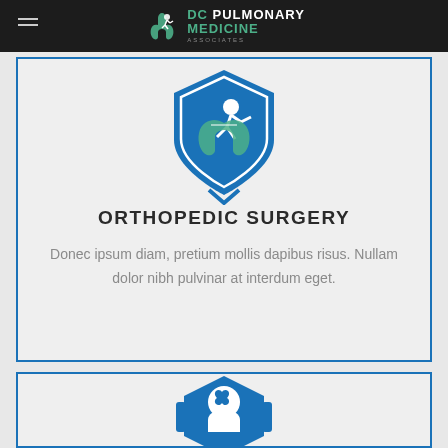DC PULMONARY MEDICINE
[Figure (illustration): Blue shield/badge icon with white figure of person running and green lung illustration]
ORTHOPEDIC SURGERY
Donec ipsum diam, pretium mollis dapibus risus. Nullam dolor nibh pulvinar at interdum eget.
[Figure (illustration): Blue hexagonal badge icon with white silhouette of head with brain visible]